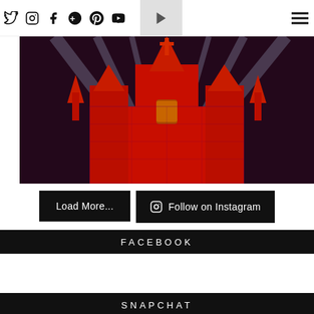Navigation bar with social icons: Twitter, Instagram, Facebook, Google+, Pinterest, YouTube, play button, hamburger menu
[Figure (photo): Cinderella Castle illuminated in red and purple lights at night with dramatic light beams in the background]
Load More...
Follow on Instagram
FACEBOOK
SNAPCHAT